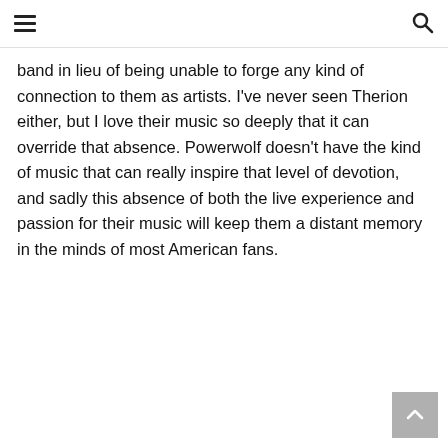[hamburger menu icon] [search icon]
band in lieu of being unable to forge any kind of connection to them as artists. I've never seen Therion either, but I love their music so deeply that it can override that absence. Powerwolf doesn't have the kind of music that can really inspire that level of devotion, and sadly this absence of both the live experience and passion for their music will keep them a distant memory in the minds of most American fans.